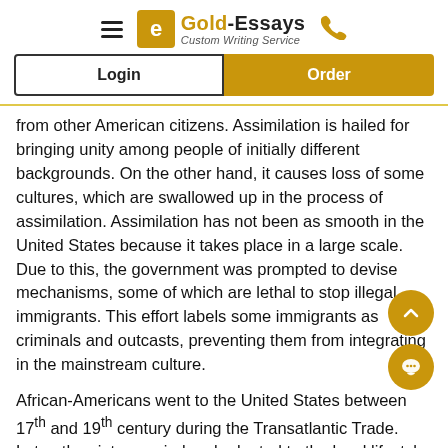Gold-Essays Custom Writing Service
from other American citizens. Assimilation is hailed for bringing unity among people of initially different backgrounds. On the other hand, it causes loss of some cultures, which are swallowed up in the process of assimilation. Assimilation has not been as smooth in the United States because it takes place in a large scale. Due to this, the government was prompted to devise mechanisms, some of which are lethal to stop illegal immigrants. This effort labels some immigrants as criminals and outcasts, preventing them from integrating in the mainstream culture.
African-Americans went to the United States between 17th and 19th century during the Transatlantic Trade. Later, they intermarried and adapted to the local lifestyle. However, this group of people was never given the opportunity to fully assimilate with the American...